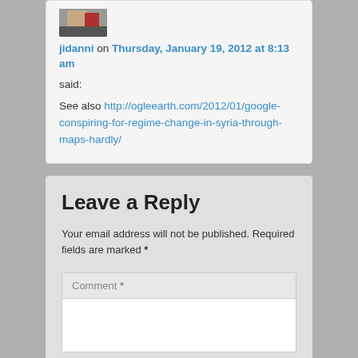[Figure (photo): Avatar/profile photo of user jidanni, partially cropped at top]
jidanni on Thursday, January 19, 2012 at 8:13 am
said:
See also http://ogleearth.com/2012/01/google-conspiring-for-regime-change-in-syria-through-maps-hardly/
Leave a Reply
Your email address will not be published. Required fields are marked *
Comment *